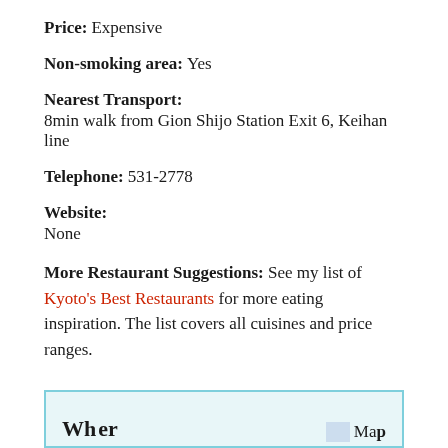Price: Expensive
Non-smoking area: Yes
Nearest Transport:
8min walk from Gion Shijo Station Exit 6, Keihan line
Telephone: 531-2778
Website:
None
More Restaurant Suggestions: See my list of Kyoto's Best Restaurants for more eating inspiration. The list covers all cuisines and price ranges.
[Figure (other): Partial view of a box section with heading and map icon at the bottom of the page]